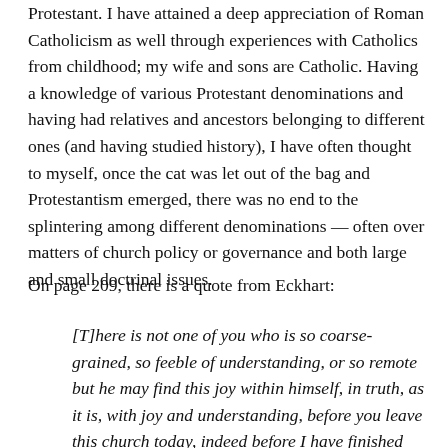Protestant. I have attained a deep appreciation of Roman Catholicism as well through experiences with Catholics from childhood; my wife and sons are Catholic. Having a knowledge of various Protestant denominations and having had relatives and ancestors belonging to different ones (and having studied history), I have often thought to myself, once the cat was let out of the bag and Protestantism emerged, there was no end to the splintering among different denominations — often over matters of church policy or governance and both large and small doctrinal issues.
On page 209, there is a quote from Eckhart:
[T]here is not one of you who is so coarse-grained, so feeble of understanding, or so remote but he may find this joy within himself, in truth, as it is, with joy and understanding, before you leave this church today, indeed before I have finished preaching: he can find this as truly within him, live it, and possess it, so that God is